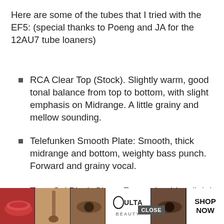Here are some of the tubes that I tried with the EF5: (special thanks to Poeng and JA for the 12AU7 tube loaners)
RCA Clear Top (Stock). Slightly warm, good tonal balance from top to bottom, with slight emphasis on Midrange. A little grainy and mellow sounding.
Telefunken Smooth Plate: Smooth, thick midrange and bottom, weighty bass punch. Forward and grainy vocal.
Tung Sol Black Glass: Forward treble, slightly recessed upper midrange. Tight b[cut off]ood
[Figure (photo): Advertisement banner for ULTA Beauty showing makeup images (lips, brush, eye) with ULTA logo, a CLOSE button overlay, and SHOP NOW text on the right.]